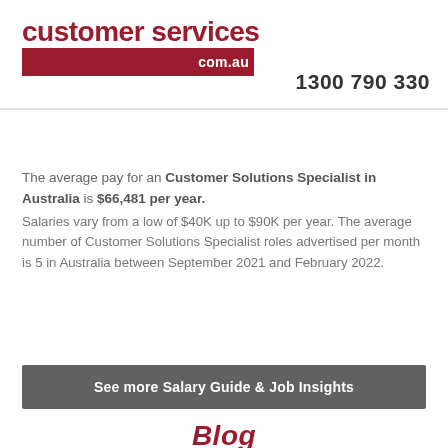[Figure (logo): Customer Services com.au logo with dark red text and bar]
1300 790 330
The average pay for an Customer Solutions Specialist in Australia is $66,481 per year. Salaries vary from a low of $40K up to $90K per year. The average number of Customer Solutions Specialist roles advertised per month is 5 in Australia between September 2021 and February 2022.
See more Salary Guide & Job Insights
Blog